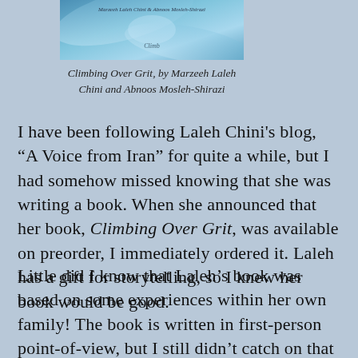[Figure (illustration): Book cover image for Climbing Over Grit with blue/teal swirling design]
Climbing Over Grit, by Marzeeh Laleh Chini and Abnoos Mosleh-Shirazi
I have been following Laleh Chini's blog, “A Voice from Iran” for quite a while, but I had somehow missed knowing that she was writing a book. When she announced that her book, Climbing Over Grit, was available on preorder, I immediately ordered it. Laleh has a gift for storytelling, so I knew her book would be good.
Little did I know that Laleh’s book was based on some experiences within her own family! The book is written in first-person point-of-view, but I still didn’t catch on that it was written in her mother’s voice until I came to a page well into the book that said